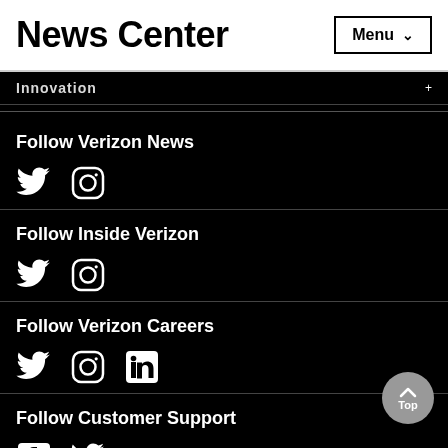News Center
Innovation
Follow Verizon News
[Figure (infographic): Twitter and Instagram social media icons for Follow Verizon News]
Follow Inside Verizon
[Figure (infographic): Twitter and Instagram social media icons for Follow Inside Verizon]
Follow Verizon Careers
[Figure (infographic): Twitter, Instagram, and LinkedIn social media icons for Follow Verizon Careers]
Follow Customer Support
[Figure (infographic): Facebook and Twitter social media icons for Follow Customer Support]